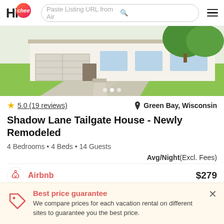Hi Chee | Paste Listing URL from Airbnb
[Figure (photo): Exterior photo of a single-story house with white siding, green lawn, and trees in the background. Shows driveway and garage.]
★ 5.0 (19 reviews)  📍 Green Bay, Wisconsin
Shadow Lane Tailgate House - Newly Remodeled
4 Bedrooms • 4 Beds • 14 Guests
Avg/Night(Excl. Fees)
Airbnb  $279
Best price guarantee
We compare prices for each vacation rental on different sites to guarantee you the best price.